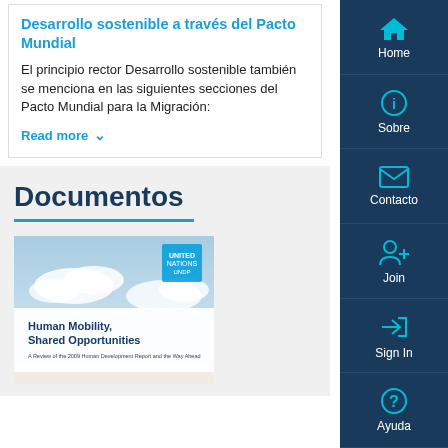Desarrollo sostenible a través del Pacto Mundial
El principio rector Desarrollo sostenible también se menciona en las siguientes secciones del Pacto Mundial para la Migración:
Read more
Documentos
[Figure (photo): Book cover: Human Mobility, Shared Opportunities - A Review of the 2009 Human Development Report and the Way Ahead, UNDP publication with sky background]